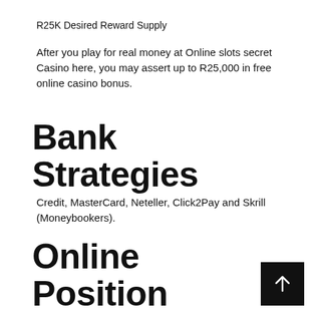R25K Desired Reward Supply
After you play for real money at Online slots secret Casino here, you may assert up to R25,000 in free online casino bonus.
Bank Strategies
Credit, MasterCard, Neteller, Click2Pay and Skrill (Moneybookers).
Online Position Game Titles